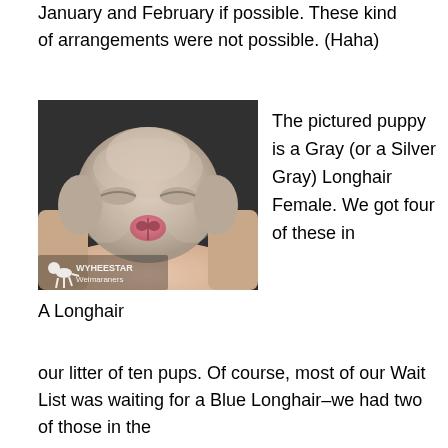January and February if possible. These kind of arrangements were not possible. (Haha)
[Figure (photo): Close-up photo of a newborn Gray (Silver Gray) Longhair Weimaraner puppy being held in human hands. The puppy's eyes are closed. A watermark in the lower left reads 'WYHEESTAR Weimaraners' with a dog logo.]
A Longhair
The pictured puppy is a Gray (or a Silver Gray) Longhair Female. We got four of these in our litter of ten pups. Of course, most of our Wait List was waiting for a Blue Longhair–we had two of those in the